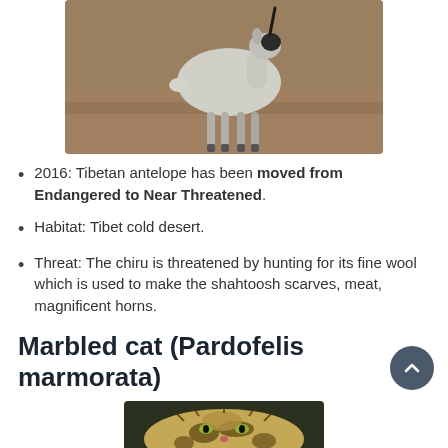[Figure (photo): A Tibetan antelope (chiru) standing on a flat, brownish desert plain, viewed from the side. The animal has a light grey-white body with dark facial markings.]
2016: Tibetan antelope has been moved from Endangered to Near Threatened.
Habitat: Tibet cold desert.
Threat: The chiru is threatened by hunting for its fine wool which is used to make the shahtoosh scarves, meat, magnificent horns.
Marbled cat (Pardofelis marmorata)
[Figure (photo): Close-up photo of a marbled cat face, showing patterned fur with dark markings on a light background.]